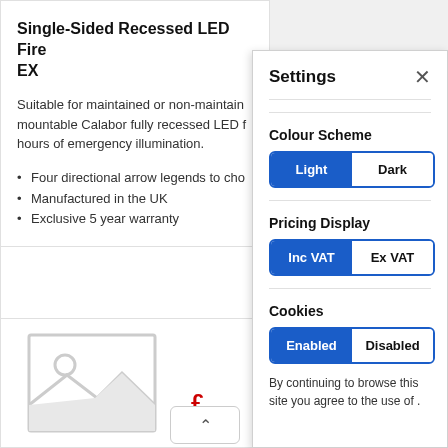Single-Sided Recessed LED Fire EX
Suitable for maintained or non-maintain mountable Calabor fully recessed LED hours of emergency illumination.
Four directional arrow legends to cho
Manufactured in the UK
Exclusive 5 year warranty
[Figure (illustration): Image placeholder icon for product image]
Settings
Colour Scheme
Pricing Display
Cookies
By continuing to browse this site you agree to the use of .